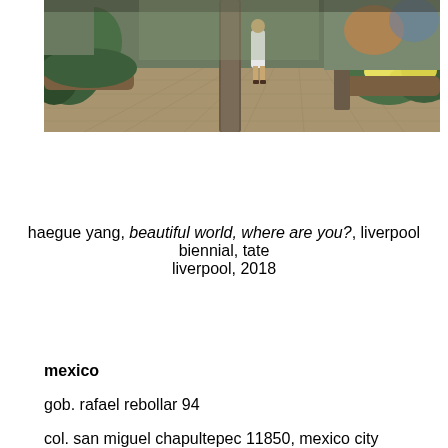[Figure (photo): Indoor space, possibly a shopping mall or exhibition hall, with stone-tiled floor, decorative columns, tropical plants and flowers, colorful murals on walls, and a woman in a white dress standing in the center background.]
haegue yang, beautiful world, where are you?, liverpool biennial, tate liverpool, 2018
mexico
gob. rafael rebollar 94
col. san miguel chapultepec 11850, mexico city
tel. +52 55 52 56 24 08
info@kurimanzutto.com